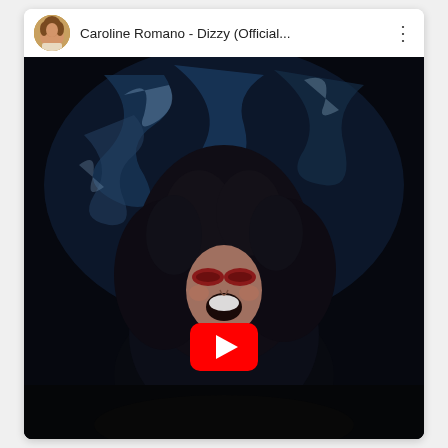[Figure (screenshot): YouTube video thumbnail/player showing Caroline Romano - Dizzy (Official...) with a woman singing dramatically with dark curly hair and red eye makeup against a dark blue swirling background. A red YouTube play button is centered on the image. The top bar shows a circular avatar photo of Caroline Romano and the video title.]